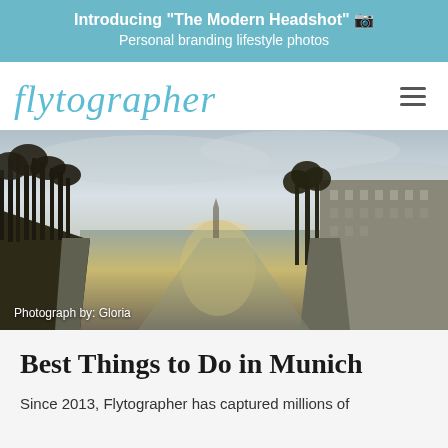Introducing "The Modern Headshot" 📷
Personal branding lifestyle photos
[Figure (logo): Flytographer script logo in teal/light blue cursive font]
[Figure (photo): Wide river channel flanked by bare winter trees on the left and multi-story buildings on the right under an overcast sky, taken in Munich. Photograph by: Gloria]
Photograph by: Gloria
Best Things to Do in Munich
Since 2013, Flytographer has captured millions of